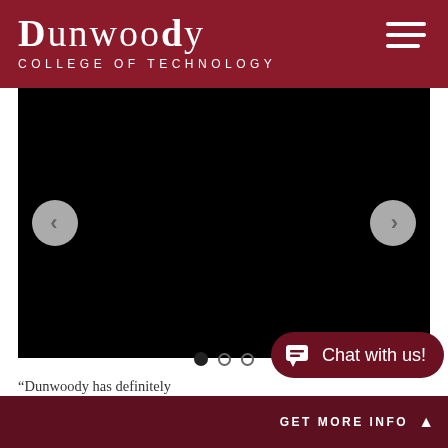Dunwoody College of Technology
[Figure (screenshot): Black carousel/slideshow image area with left and right navigation arrow buttons and three dot indicators at bottom]
"Dunwoody has definitely... in residential construction industry professionals
[Figure (other): Chat with us button overlay with chat icon]
GET MORE INFO